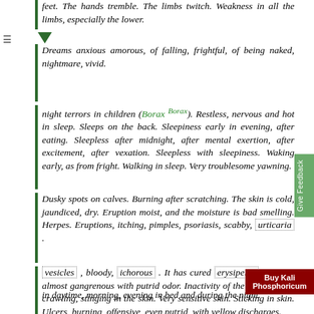feet. The hands tremble. The limbs twitch. Weakness in all the limbs, especially the lower.
Dreams anxious amorous, of falling, frightful, of being naked, nightmare, vivid.
night terrors in children (Borax Borax). Restless, nervous and hot in sleep. Sleeps on the back. Sleepiness early in evening, after eating. Sleepless after midnight, after mental exertion, after excitement, after vexation. Sleepless with sleepiness. Waking early, as from fright. Walking in sleep. Very troublesome yawning.
Dusky spots on calves. Burning after scratching. The skin is cold, jaundiced, dry. Eruption moist, and the moisture is bad smelling. Herpes. Eruptions, itching, pimples, psoriasis, scabby, urticaria .
vesicles , bloody, ichorous . It has cured erysipelas that was almost gangrenous with putrid odor. Inactivity of the skin Itching, crawling, stinging in the skin. Very sensitive skin. Sticking in skin. Ulcers, burning, offensive, even putrid, with yellow discharges.
in daytime, morning, evening in bed and during the night.